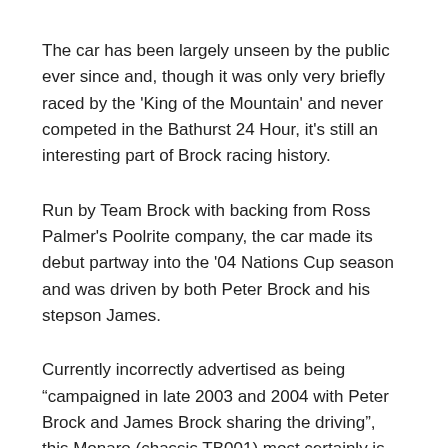The car has been largely unseen by the public ever since and, though it was only very briefly raced by the ‘King of the Mountain’ and never competed in the Bathurst 24 Hour, it's still an interesting part of Brock racing history.
Run by Team Brock with backing from Ross Palmer's Poolrite company, the car made its debut partway into the '04 Nations Cup season and was driven by both Peter Brock and his stepson James.
Currently incorrectly advertised as being “campaigned in late 2003 and 2004 with Peter Brock and James Brock sharing the driving”, this Monaro (chassis TB001) most certainly is not the red, GRM-run car raced by Brock in the '03 Nations Cup and Bathurst 24 Hour.